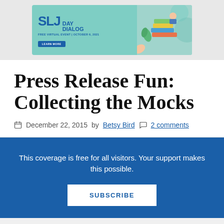[Figure (illustration): SLJ Day Dialog advertisement banner — teal background, SLJ logo in blue, 'DAY DIALOG' text, 'FREE VIRTUAL EVENT | OCTOBER 6, 2021', 'LEARN MORE' button, illustrated books and character on right side]
Press Release Fun: Collecting the Mocks
December 22, 2015 by Betsy Bird  2 comments
This coverage is free for all visitors. Your support makes this possible.
SUBSCRIBE